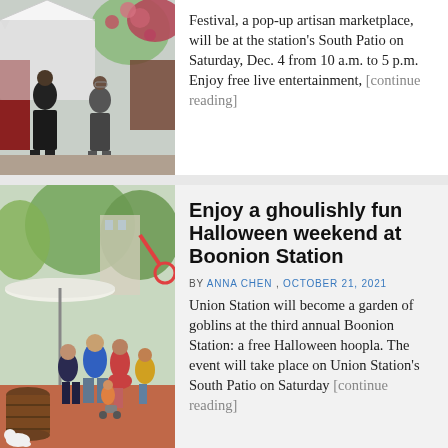[Figure (photo): Outdoor market scene with people browsing stalls under white canopies, red/pink decorative balls in tree, dark-clad man in foreground]
Festival, a pop-up artisan marketplace, will be at the station's South Patio on Saturday, Dec. 4 from 10 a.m. to 5 p.m. Enjoy free live entertainment, [continue reading]
[Figure (photo): Outdoor event at Union Station South Patio, crowd of people walking, colorful costumes, umbrella-shaded tables, barrel planter, small white dog in foreground, green trees in background]
Enjoy a ghoulishly fun Halloween weekend at Boonion Station
BY ANNA CHEN , OCTOBER 21, 2021
Union Station will become a garden of goblins at the third annual Boonion Station: a free Halloween hoopla. The event will take place on Union Station's South Patio on Saturday [continue reading]